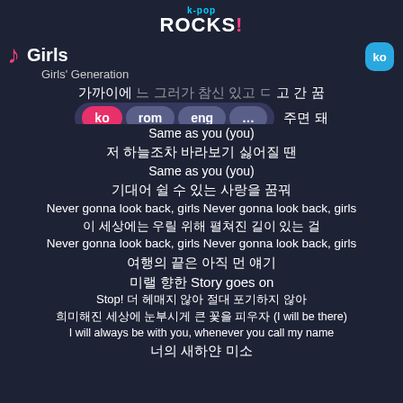k-pop ROCKS!
Girls
Girls' Generation
[Figure (screenshot): Language selector popup with buttons: ko (pink/active), rom, eng, ...]
Same as you (you)
저 하늘조차 바라보기 싫어질 땐
Same as you (you)
기대어 쉴 수 있는 사랑을 꿈꿔
Never gonna look back, girls Never gonna look back, girls
이 세상에는 우릴 위해 펼쳐진 길이 있는 걸
Never gonna look back, girls Never gonna look back, girls
여행의 끝은 아직 먼 얘기
미랠 향한 Story goes on
Stop! 더 헤매지 않아 절대 포기하지 않아
희미해진 세상에 눈부시게 큰 꽃을 피우자 (I will be there)
I will always be with you, whenever you call my name
너의 새하얀 미소